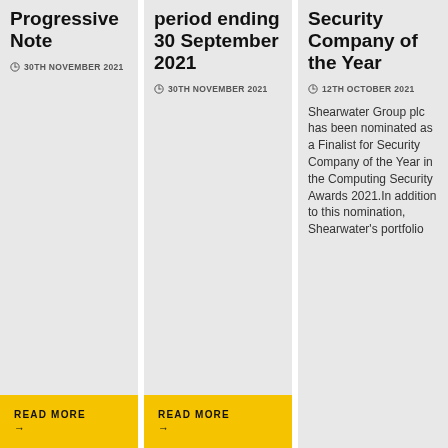Progressive Note
30TH NOVEMBER 2021
READ MORE →
period ending 30 September 2021
30TH NOVEMBER 2021
READ MORE →
Security Company of the Year
12TH OCTOBER 2021
Shearwater Group plc has been nominated as a Finalist for Security Company of the Year in the Computing Security Awards 2021.In addition to this nomination, Shearwater's portfolio